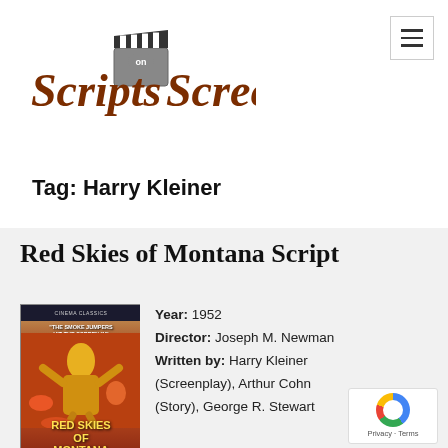Scripts on Screen
Tag: Harry Kleiner
Red Skies of Montana Script
[Figure (photo): Movie poster for Red Skies of Montana (1952) with yellow-suited firefighter figure against red and orange background, title text at bottom reading RED SKIES OF MONTANA]
Year:  1952
Director:  Joseph M. Newman
Written by:  Harry Kleiner (Screenplay), Arthur Cohn (Story), George R. Stewart